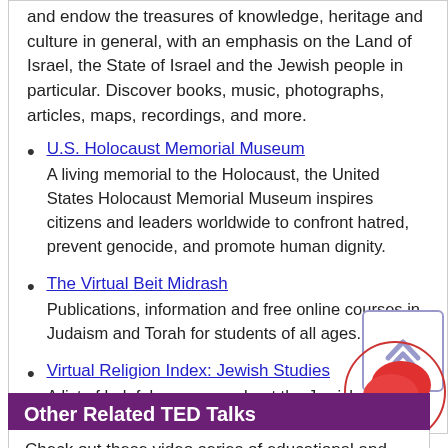and endow the treasures of knowledge, heritage and culture in general, with an emphasis on the Land of Israel, the State of Israel and the Jewish people in particular. Discover books, music, photographs, articles, maps, recordings, and more.
U.S. Holocaust Memorial Museum
A living memorial to the Holocaust, the United States Holocaust Memorial Museum inspires citizens and leaders worldwide to confront hatred, prevent genocide, and promote human dignity.
The Virtual Beit Midrash
Publications, information and free online courses in Judaism and Torah for students of all ages.
Virtual Religion Index: Jewish Studies
A list of helpful resources about the Jewish religion.
Other Related TED Talks
Check out these video series of educational and talks and performances, filmed at TED conferences and